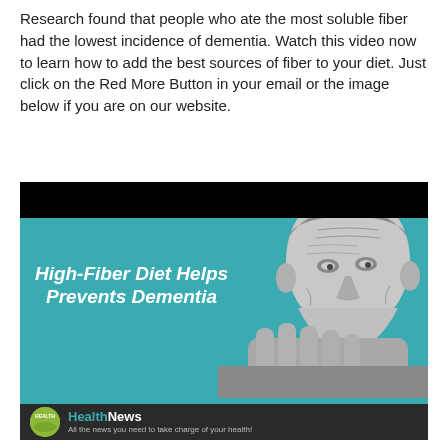Research found that people who ate the most soluble fiber had the lowest incidence of dementia. Watch this video now to learn how to add the best sources of fiber to your diet. Just click on the Red More Button in your email or the image below if you are on our website.
[Figure (infographic): Video thumbnail for 'High-Fiber Diet Helps Prevents Dementia' — HealthNews branding. Black bar at top, teal/cyan background with black-and-white photo of elderly man with hands clasped near face. Bold white italic text reads 'High-Fiber Diet Helps Prevents Dementia'. Dark footer bar with HealthNews logo and tagline 'All the news you need to take charge of your health!'.]